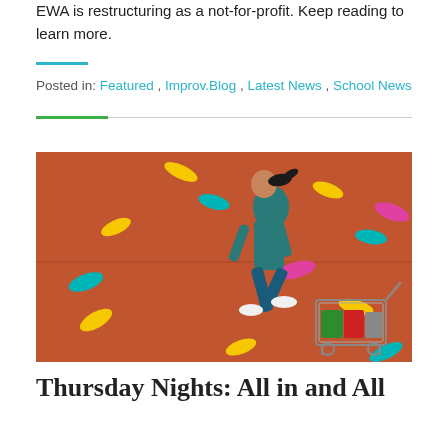EWA is restructuring as a not-for-profit. Keep reading to learn more.
Posted in: Featured , Improv.Blog , Latest News , School News
[Figure (photo): Woman in teal jumpsuit leaping against an orange wall with colorful decorative shapes, pushing a shopping cart]
Thursday Nights: All in and All